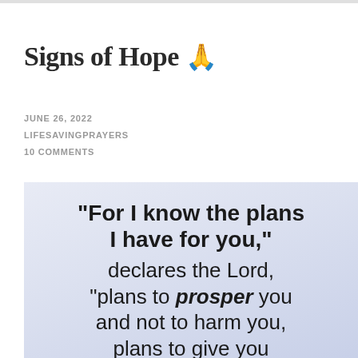Signs of Hope 🙏
JUNE 26, 2022
LIFESAVINGPRAYERS
10 COMMENTS
[Figure (illustration): Light blue-purple gradient background box containing a biblical quote in large bold text: "For I know the plans I have for you," declares the Lord, "plans to prosper you and not to harm you, plans to give you"]